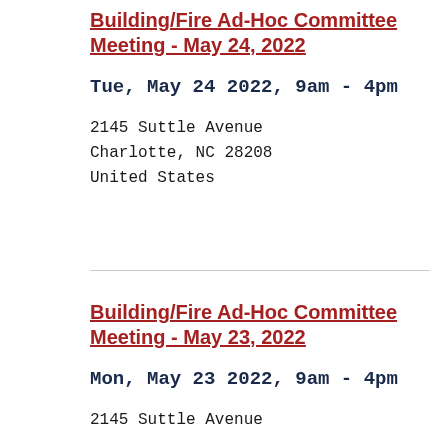Building/Fire Ad-Hoc Committee Meeting - May 24, 2022
Tue, May 24 2022, 9am - 4pm
2145 Suttle Avenue
Charlotte, NC 28208
United States
Building/Fire Ad-Hoc Committee Meeting - May 23, 2022
Mon, May 23 2022, 9am - 4pm
2145 Suttle Avenue